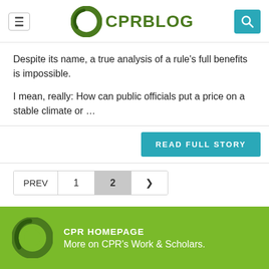CPR BLOG
Despite its name, a true analysis of a rule’s full benefits is impossible.
I mean, really: How can public officials put a price on a stable climate or …
READ FULL STORY
PREV  1  2  ›
CPR HOMEPAGE
More on CPR’s Work & Scholars.